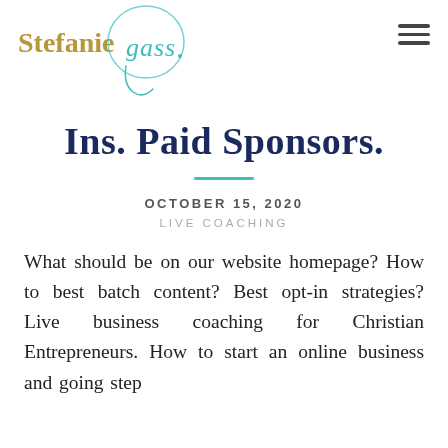Stefanie Gass
Ins. Paid Sponsors.
OCTOBER 15, 2020
LIVE COACHING
What should be on our website homepage? How to best batch content? Best opt-in strategies? Live business coaching for Christian Entrepreneurs. How to start an online business and going step by step.